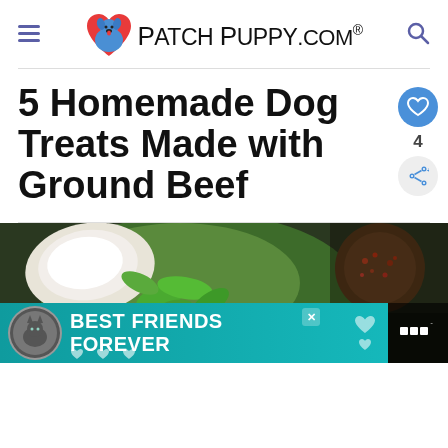PatchPuppy.com
5 Homemade Dog Treats Made with Ground Beef
[Figure (photo): Food ingredients photo showing herbs, spices and cooking ingredients including green leaves and a white bowl, with a teal advertisement banner overlay reading BEST FRIENDS FOREVER with cat icon]